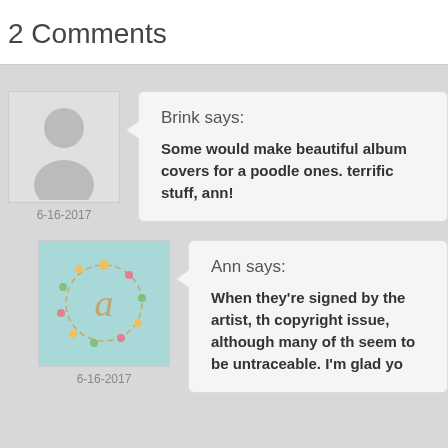2 Comments
Brink says:
Some would make beautiful album covers for a poodle ones. terrific stuff, ann!
6-16-2017
Ann says:
When they're signed by the artist, th copyright issue, although many of th seem to be untraceable. I'm glad yo
6-16-2017